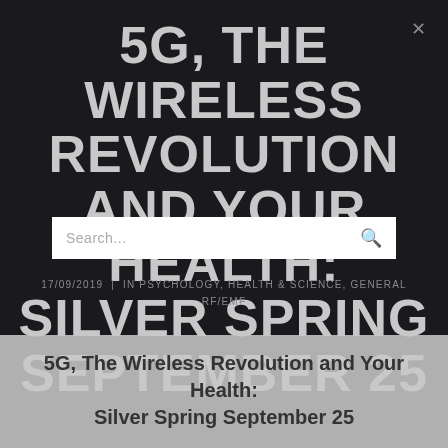5G, THE WIRELESS REVOLUTION AND YOUR HEALTH: SILVER SPRING SEPTEMBER 25
17/09/2019  |  IN PSYCHOLOGY, HEALTH & SCIENCE, GENERAL RF/EMF
5G, The Wireless Revolution and Your Health: Silver Spring September 25